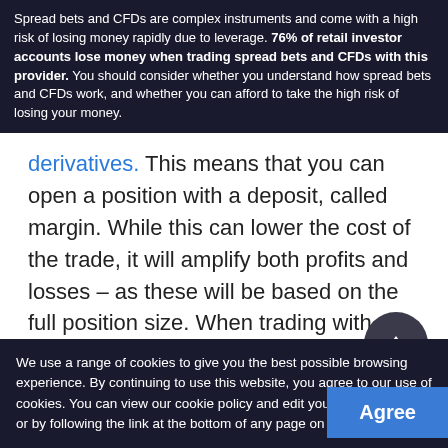Spread bets and CFDs are complex instruments and come with a high risk of losing money rapidly due to leverage. 76% of retail investor accounts lose money when trading spread bets and CFDs with this provider. You should consider whether you understand how spread bets and CFDs work, and whether you can afford to take the high risk of losing your money.
derivatives. This means that you can open a position with a deposit, called margin. While this can lower the cost of the trade, it will amplify both profits and losses – as these will be based on the full position size. When trading with leverage, it's important to manage your risk as best possible.
Learn more about the impact of leverage on your trading
When investing in shares, you take direct ownership of the shares. Rather than speculating on factors outside... your shares for more than you paid to buy them. Equally, you'll incur a loss should the price
We use a range of cookies to give you the best possible browsing experience. By continuing to use this website, you agree to our use of cookies. You can view our cookie policy and edit your settings here, or by following the link at the bottom of any page on our site.